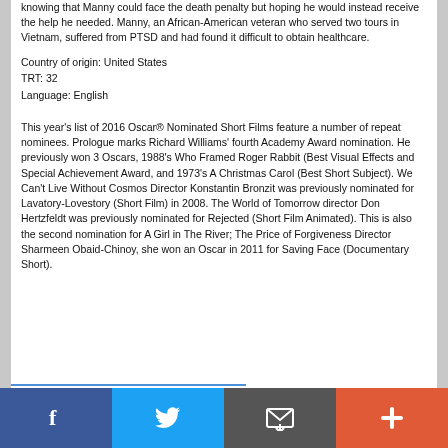knowing that Manny could face the death penalty but hoping he would instead receive the help he needed. Manny, an African-American veteran who served two tours in Vietnam, suffered from PTSD and had found it difficult to obtain healthcare.
Country of origin: United States
TRT: 32
Language: English
This year's list of 2016 Oscar® Nominated Short Films feature a number of repeat nominees. Prologue marks Richard Williams' fourth Academy Award nomination. He previously won 3 Oscars, 1988's Who Framed Roger Rabbit (Best Visual Effects and Special Achievement Award, and 1973's A Christmas Carol (Best Short Subject). We Can't Live Without Cosmos Director Konstantin Bronzit was previously nominated for Lavatory-Lovestory (Short Film) in 2008. The World of Tomorrow director Don Hertzfeldt was previously nominated for Rejected (Short Film Animated). This is also the second nomination for A Girl in The River; The Price of Forgiveness Director Sharmeen Obaid-Chinoy, she won an Oscar in 2011 for Saving Face (Documentary Short).